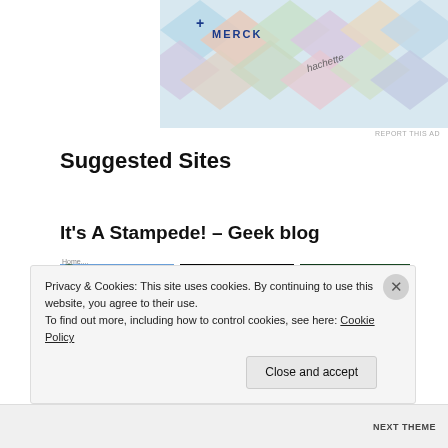[Figure (photo): Advertisement banner at top showing Merck logo and hachette branding on colorful diamond-shaped tiles]
REPORT THIS AD
Suggested Sites
It's A Stampede! – Geek blog
[Figure (photo): Looney Tunes cartoon characters - Elmer Fudd, Bugs Bunny, Daffy Duck in hunting outfits in a forest]
rch 24, 2020
What are the best Looney Tunes
[Figure (photo): Stylized portrait of a man in cowboy hat, dark artistic image for Westworld 1973]
March 15, 2020
14 FAQs about Westworld (1973)
Below is a heap of frequently asked ... from the 1975 film Westworld.
[Figure (photo): Two male faces in green-tinted dramatic lighting for The Incredible Hulk]
March 15, 2020
The nine best episodes of The Incredible Hulk
The Incredible Hulk is often cited as...
Privacy & Cookies: This site uses cookies. By continuing to use this website, you agree to their use.
To find out more, including how to control cookies, see here: Cookie Policy
Close and accept